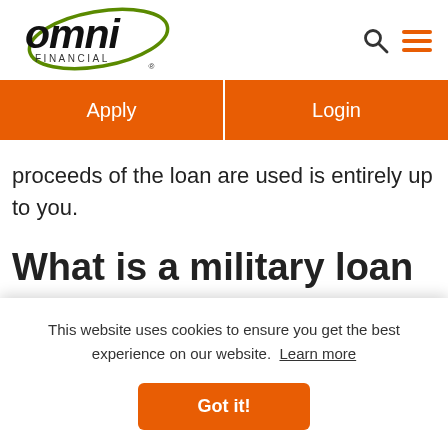[Figure (logo): Omni Financial logo — stylized 'omni' text in black with green oval swoosh and 'FINANCIAL' in small caps below]
proceeds of the loan are used is entirely up to you.
What is a military loan
This website uses cookies to ensure you get the best experience on our website. Learn more
Got it!
t like a personal loan doesn't a borrower, you apply